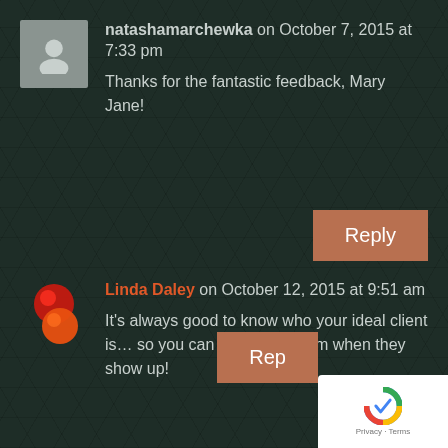[Figure (illustration): Generic user avatar (silhouette) in grey square]
natashamarchewka on October 7, 2015 at 7:33 pm
Thanks for the fantastic feedback, Mary Jane!
Reply
[Figure (logo): Linda Daley profile icon - red and orange swirl logo]
Linda Daley on October 12, 2015 at 9:51 am
It's always good to know who your ideal client is… so you can recognize them when they show up!
Reply
[Figure (other): Google reCAPTCHA badge with Privacy and Terms links]